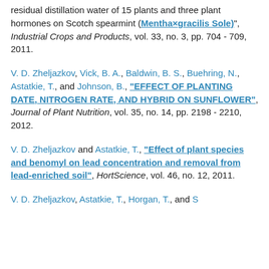residual distillation water of 15 plants and three plant hormones on Scotch spearmint (Mentha×gracilis Sole)", Industrial Crops and Products, vol. 33, no. 3, pp. 704 - 709, 2011.
V. D. Zheljazkov, Vick, B. A., Baldwin, B. S., Buehring, N., Astatkie, T., and Johnson, B., "EFFECT OF PLANTING DATE, NITROGEN RATE, AND HYBRID ON SUNFLOWER", Journal of Plant Nutrition, vol. 35, no. 14, pp. 2198 - 2210, 2012.
V. D. Zheljazkov and Astatkie, T., "Effect of plant species and benomyl on lead concentration and removal from lead-enriched soil", HortScience, vol. 46, no. 12, 2011.
V. D. Zheljazkov, Astatkie, T., Horgan, T., and S